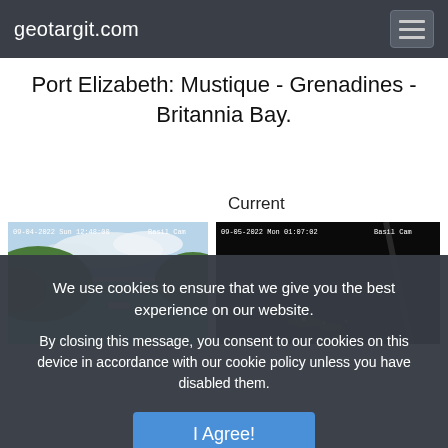geotargit.com
Port Elizabeth: Mustique - Grenadines - Britannia Bay.
Current
[Figure (photo): Daytime webcam image of a coastal bay with green hills, blue water. Timestamp: 09-04-2022 Sun 12:48:00, label: Basil Cam]
[Figure (photo): Nighttime webcam image, mostly dark. Timestamp: 09-05-2022 Mon 01:07:02, label: Basil Cam]
We use cookies to ensure that we give you the best experience on our website.
By closing this message, you consent to our cookies on this device in accordance with our cookie policy unless you have disabled them.
I Agree!